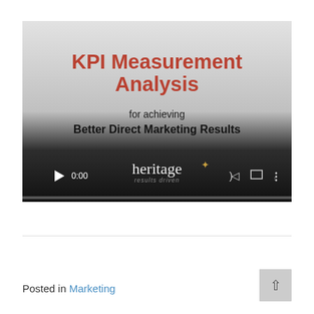[Figure (screenshot): Video thumbnail/player for 'KPI Measurement Analysis for achieving Better Direct Marketing Results' by Heritage, showing video controls at 0:00]
Posted in Marketing